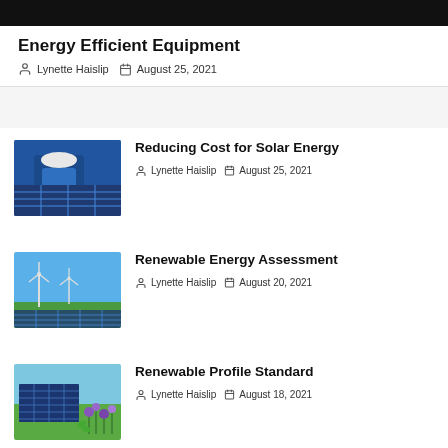[Figure (photo): Dark/black banner image at top of page]
Energy Efficient Equipment
Lynette Haislip  August 25, 2021
[Figure (photo): Worker in blue suit installing solar panels]
Reducing Cost for Solar Energy
Lynette Haislip  August 25, 2021
[Figure (photo): Wind turbines and solar panels in green landscape]
Renewable Energy Assessment
Lynette Haislip  August 20, 2021
[Figure (photo): Solar panels with purple wildflowers]
Renewable Profile Standard
Lynette Haislip  August 18, 2021